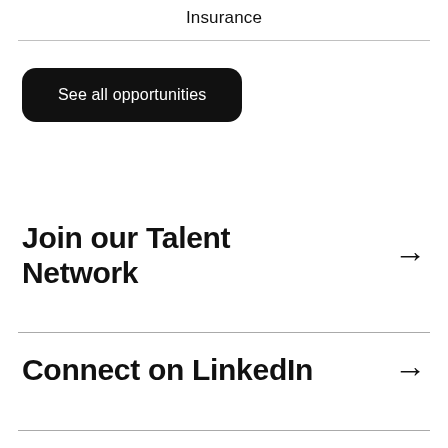Insurance
See all opportunities
Join our Talent Network →
Connect on LinkedIn →